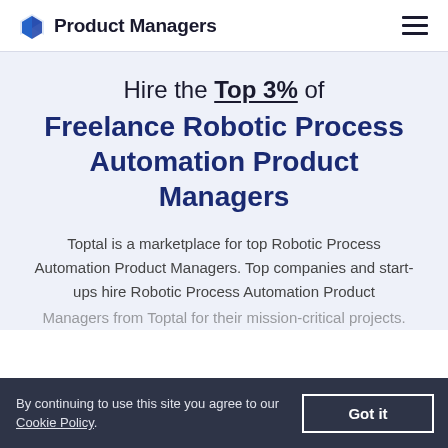Product Managers
Hire the Top 3% of Freelance Robotic Process Automation Product Managers
Toptal is a marketplace for top Robotic Process Automation Product Managers. Top companies and start-ups hire Robotic Process Automation Product Managers from Toptal for their mission-critical projects.
By continuing to use this site you agree to our Cookie Policy.